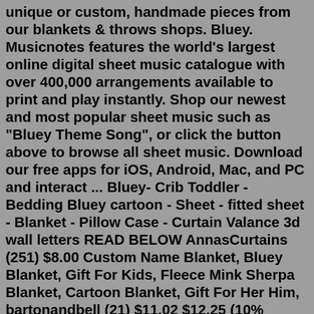unique or custom, handmade pieces from our blankets & throws shops. Bluey. Musicnotes features the world's largest online digital sheet music catalogue with over 400,000 arrangements available to print and play instantly. Shop our newest and most popular sheet music such as "Bluey Theme Song", or click the button above to browse all sheet music. Download our free apps for iOS, Android, Mac, and PC and interact ... Bluey- Crib Toddler - Bedding Bluey cartoon - Sheet - fitted sheet - Blanket - Pillow Case - Curtain Valance 3d wall letters READ BELOW AnnasCurtains (251) $8.00 Custom Name Blanket, Bluey Blanket, Gift For Kids, Fleece Mink Sherpa Blanket, Cartoon Blanket, Gift For Her Him, bartonandbell (21) $11.02 $12.25 (10% off)Bluey Single Bedding Set. Give your little pup the sleep they need with this adorable white duvet set to set up them up for fun family adventures with Bluey! This fun reversible bedding includes a single duvet cover and one pillow case, showcasing cute prints of Bluey and family. Let their imagination take them to a